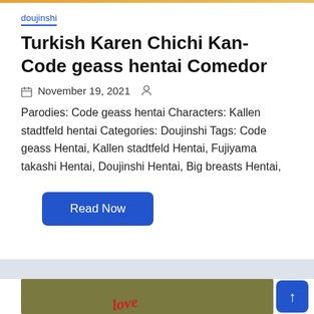doujinshi
Turkish Karen Chichi Kan- Code geass hentai Comedor
November 19, 2021
Parodies: Code geass hentai Characters: Kallen stadtfeld hentai Categories: Doujinshi Tags: Code geass Hentai, Kallen stadtfeld Hentai, Fujiyama takashi Hentai, Doujinshi Hentai, Big breasts Hentai,
Read Now
[Figure (photo): Partial view of a manga/doujinshi cover image with olive-green background and red stylized text]